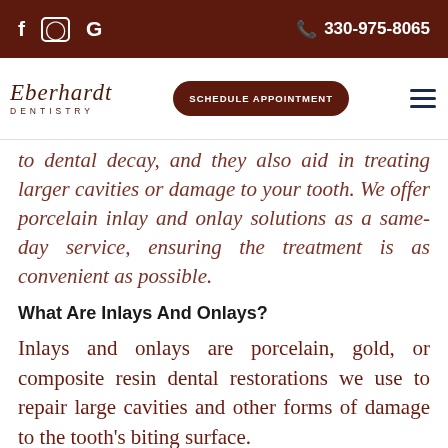f  ©  G    📞 330-975-8065
[Figure (logo): Eberhardt Dentistry logo with script text and SCHEDULE APPOINTMENT button and hamburger menu]
to dental decay, and they also aid in treating larger cavities or damage to your tooth. We offer porcelain inlay and onlay solutions as a same-day service, ensuring the treatment is as convenient as possible.
What Are Inlays And Onlays?
Inlays and onlays are porcelain, gold, or composite resin dental restorations we use to repair large cavities and other forms of damage to the tooth's biting surface.